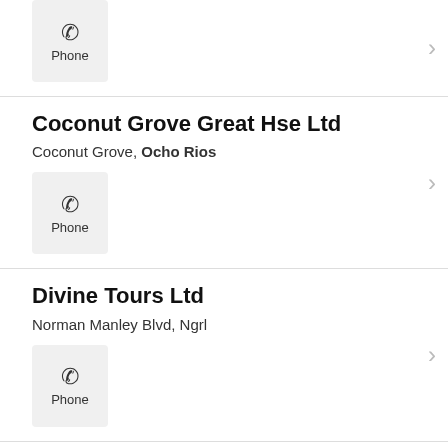Phone (top partial entry)
Coconut Grove Great Hse Ltd
Coconut Grove, Ocho Rios
Phone
Divine Tours Ltd
Norman Manley Blvd, Ngrl
Phone
Dreamer Catamaran Crusies
Dunns River, Ocho